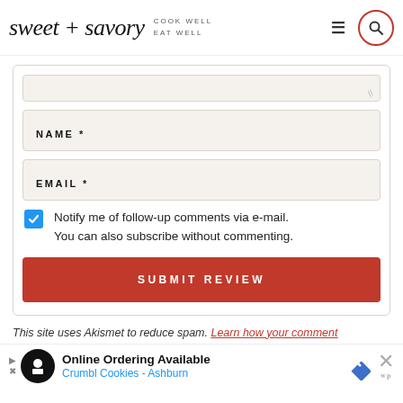sweet + savory | COOK WELL EAT WELL
NAME *
EMAIL *
Notify me of follow-up comments via e-mail. You can also subscribe without commenting.
SUBMIT REVIEW
This site uses Akismet to reduce spam. Learn how your comment
Online Ordering Available Crumbl Cookies - Ashburn